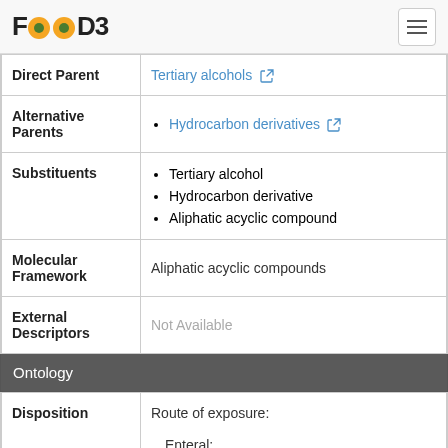FOODB
| Property | Value |
| --- | --- |
| Direct Parent | Tertiary alcohols |
| Alternative Parents | Hydrocarbon derivatives |
| Substituents | Tertiary alcohol; Hydrocarbon derivative; Aliphatic acyclic compound |
| Molecular Framework | Aliphatic acyclic compounds |
| External Descriptors | Not Available |
Ontology
| Property | Value |
| --- | --- |
| Disposition | Route of exposure:
Enteral:
• Ingestion |